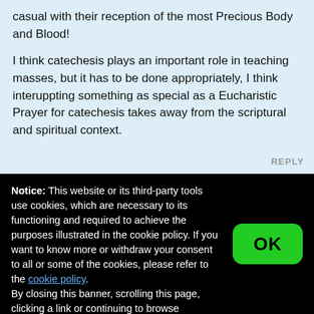casual with their reception of the most Precious Body and Blood!
I think catechesis plays an important role in teaching masses, but it has to be done appropriately, I think interuppting something as special as a Eucharistic Prayer for catechesis takes away from the scriptural and spiritual context.
REPLY
Notice: This website or its third-party tools use cookies, which are necessary to its functioning and required to achieve the purposes illustrated in the cookie policy. If you want to know more or withdraw your consent to all or some of the cookies, please refer to the cookie policy.
By closing this banner, scrolling this page, clicking a link or continuing to browse otherwise, you agree to the use of cookies.